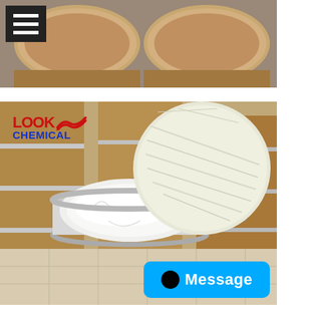[Figure (photo): Top portion: photo of two large cardboard/paper drums (fiber drums) with tan/kraft coloring, viewed from above showing cylindrical tops, on a gray floor. A small hamburger/menu icon (three horizontal white lines on black background) is in the top-left corner.]
[Figure (photo): Bottom portion: photo showing an open cardboard drum with a round white/cream-colored lid leaned against it, revealing white powder inside a plastic liner bag. 'LOOK Chemical' logo in red and blue is in the top-left of the image. Multiple stacked cardboard drums visible in background on tile floor.]
Message